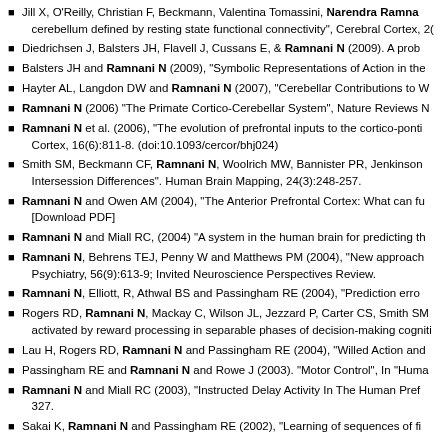Jill X, O'Reilly, Christian F, Beckmann, Valentina Tomassini, Narendra Ramnani: cerebellum defined by resting state functional connectivity", Cerebral Cortex, 20...
Diedrichsen J, Balsters JH, Flavell J, Cussans E, & Ramnani N (2009). A prob...
Balsters JH and Ramnani N (2009), "Symbolic Representations of Action in the...
Hayter AL, Langdon DW and Ramnani N (2007), "Cerebellar Contributions to W...
Ramnani N (2006) "The Primate Cortico-Cerebellar System", Nature Reviews N...
Ramnani N et al. (2006), "The evolution of prefrontal inputs to the cortico-ponti... Cortex, 16(6):811-8. (doi:10.1093/cercor/bhj024)
Smith SM, Beckmann CF, Ramnani N, Woolrich MW, Bannister PR, Jenkinson... Intersession Differences". Human Brain Mapping, 24(3):248-257.
Ramnani N and Owen AM (2004), "The Anterior Prefrontal Cortex: What can fu... [Download PDF]
Ramnani N and Miall RC, (2004) "A system in the human brain for predicting th...
Ramnani N, Behrens TEJ, Penny W and Matthews PM (2004), "New approach... Psychiatry, 56(9):613-9; Invited Neuroscience Perspectives Review.
Ramnani N, Elliott, R, Athwal BS and Passingham RE (2004), "Prediction erro...
Rogers RD, Ramnani N, Mackay C, Wilson JL, Jezzard P, Carter CS, Smith SM... activated by reward processing in separable phases of decision-making cogniti...
Lau H, Rogers RD, Ramnani N and Passingham RE (2004), "Willed Action and...
Passingham RE and Ramnani N and Rowe J (2003). "Motor Control", In "Huma...
Ramnani N and Miall RC (2003), "Instructed Delay Activity In The Human Pref... 327.
Sakai K, Ramnani N and Passingham RE (2002), "Learning of sequences of fi...